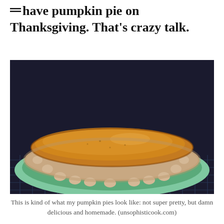have pumpkin pie on Thanksgiving. That's crazy talk.
[Figure (photo): Close-up photo of a homemade pumpkin pie in a light green pie dish, sitting on a wire cooling rack. The pie has a crimped pastry crust edge and a smooth, deep amber-brown filling. The crust is golden-tan and slightly rustic.]
This is kind of what my pumpkin pies look like: not super pretty, but damn delicious and homemade. (unsophisticook.com)